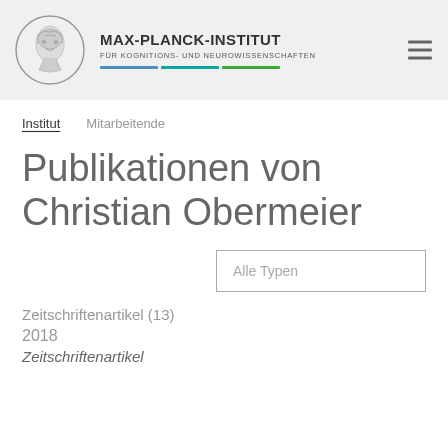[Figure (logo): Max-Planck-Institut für Kognitions- und Neurowissenschaften logo with circular emblem showing Minerva head]
MAX-PLANCK-INSTITUT FÜR KOGNITIONS- UND NEUROWISSENSCHAFTEN
Institut   Mitarbeitende
Publikationen von Christian Obermeier
Alle Typen
Zeitschriftenartikel (13)
2018
Zeitschriftenartikel